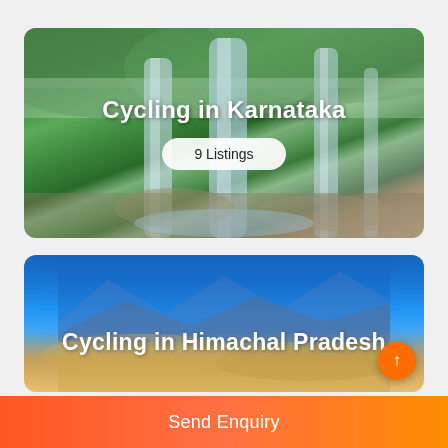[Figure (photo): Aerial/scenic photo of waterfalls cascading through lush green forest in Karnataka, India. Multiple waterfalls visible against verdant hillside.]
Cycling in Karnataka
9 Listings
[Figure (photo): Scenic photo with bright blue sky and mountainous landscape in Himachal Pradesh, India, with sandy/rocky terrain in the foreground.]
Cycling in Himachal Pradesh
Send Enquiry